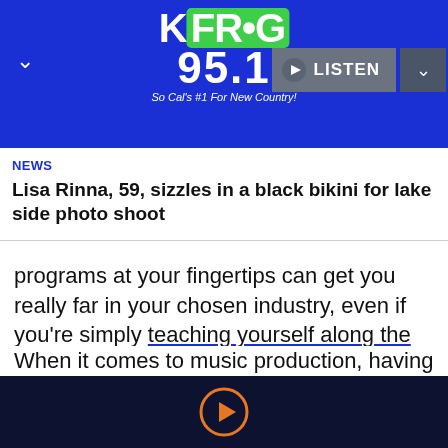[Figure (logo): KFROG 95.1 radio station logo on blue background with green frog mascot, tagline 'So Cal's #1 For New Country!']
NEWS
Lisa Rinna, 59, sizzles in a black bikini for lake side photo shoot
programs at your fingertips can get you really far in your chosen industry, even if you're simply teaching yourself along the way.
When it comes to music production, having The 2022 Digital Music & Content Creator Bundle can open up a whole new world to you. Stuffed to the
[Figure (other): Audio player play button (orange circle with triangle) on dark navy background]